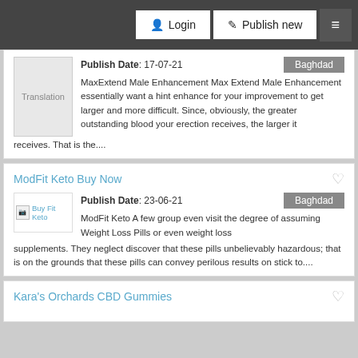Login | Publish new
Publish Date: 17-07-21 | Baghdad
MaxExtend Male Enhancement Max Extend Male Enhancement essentially want a hint enhance for your improvement to get larger and more difficult. Since, obviously, the greater outstanding blood your erection receives, the larger it receives. That is the....
ModFit Keto Buy Now
Publish Date: 23-06-21 | Baghdad
ModFit Keto A few group even visit the degree of assuming Weight Loss Pills or even weight loss supplements. They neglect discover that these pills unbelievably hazardous; that is on the grounds that these pills can convey perilous results on stick to....
Kara's Orchards CBD Gummies